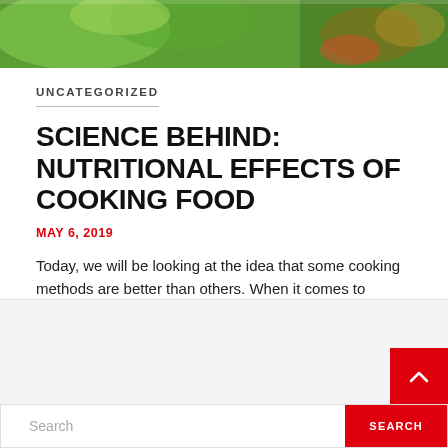[Figure (photo): Hero image showing green vegetables and food items at the top of the page]
UNCATEGORIZED
SCIENCE BEHIND: NUTRITIONAL EFFECTS OF COOKING FOOD
MAY 6, 2019
Today, we will be looking at the idea that some cooking methods are better than others. When it comes to retaining the nutritional quality of vegetables.
[Figure (screenshot): Gray sidebar/widget area at the bottom with a search bar and search button]